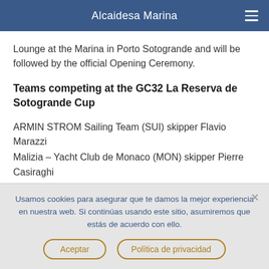Alcaidesa Marina
Lounge at the Marina in Porto Sotogrande and will be followed by the official Opening Ceremony.
Teams competing at the GC32 La Reserva de Sotogrande Cup
ARMIN STROM Sailing Team (SUI) skipper Flavio Marazzi
Malizia – Yacht Club de Monaco (MON) skipper Pierre Casiraghi
Usamos cookies para asegurar que te damos la mejor experiencia en nuestra web. Si continúas usando este sitio, asumiremos que estás de acuerdo con ello.